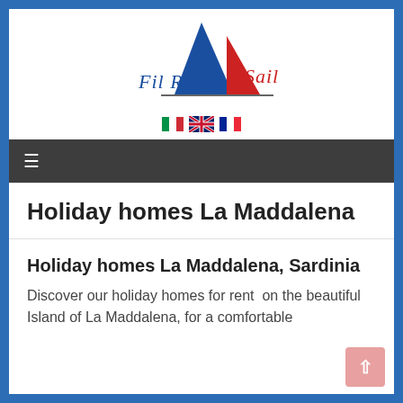[Figure (logo): Fil Rouge Sail logo with blue and red sail triangles and cursive text]
[Figure (infographic): Italian, UK, and French flag icons for language selection]
≡ (hamburger navigation menu)
Holiday homes La Maddalena
Holiday homes La Maddalena, Sardinia
Discover our holiday homes for rent  on the beautiful Island of La Maddalena, for a comfortable